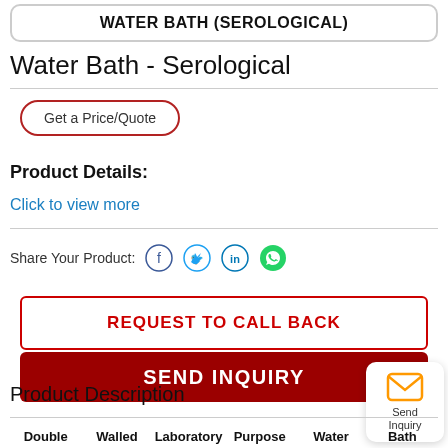WATER BATH (SEROLOGICAL)
Water Bath - Serological
Get a Price/Quote
Product Details:
Click to view more
Share Your Product:
REQUEST TO CALL BACK
SEND INQUIRY
Product Description
| Double | Walled | Laboratory | Purpose | Water | Bath |
| --- | --- | --- | --- | --- | --- |